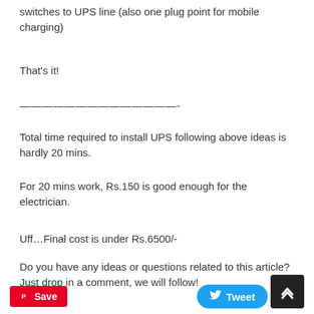switches to UPS line (also one plug point for mobile charging)
That's it!
——————————————-
Total time required to install UPS following above ideas is hardly 20 mins.
For 20 mins work, Rs.150 is good enough for the electrician.
Uff…Final cost is under Rs.6500/-
Do you have any ideas or questions related to this article? Just drop in a comment, we will follow!